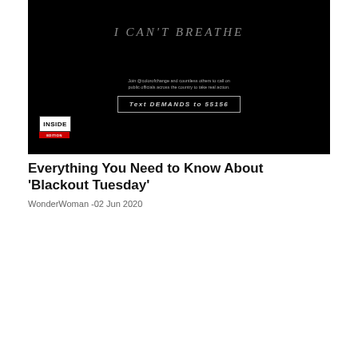[Figure (screenshot): A black background image with text 'I CAN'T BREATHE' in gray italic serif font at top. Below, text reads 'Join @colorofchange and countless others to call on public officials across the country to take real action.' A bordered box says 'Text DEMANDS to 55156'. The Inside Edition logo (white box with red EDITION bar) appears in the bottom-left corner.]
Everything You Need to Know About ‘Blackout Tuesday’
WonderWoman -02 Jun 2020